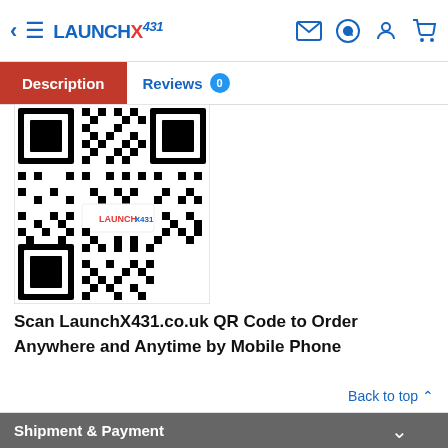LAUNCH X431 navigation header with back, menu, logo, email, whatsapp, account, and cart icons
Description | Reviews 0
[Figure (other): QR code for LaunchX431.co.uk with the LAUNCH X431 logo in the center]
Scan LaunchX431.co.uk QR Code to Order Anywhere and Anytime by Mobile Phone
Back to top ▲
Shipment & Payment